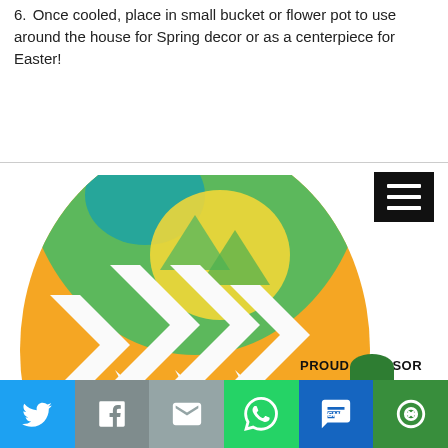6. Once cooled, place in small bucket or flower pot to use around the house for Spring decor or as a centerpiece for Easter!
[Figure (illustration): Decorative Easter egg illustration with orange, yellow, green, and red chevron pattern design, shown partially cropped at bottom]
PROUD SPONSOR
[Figure (infographic): Social sharing bar with Twitter, Facebook, Email, WhatsApp, SMS, and More buttons]